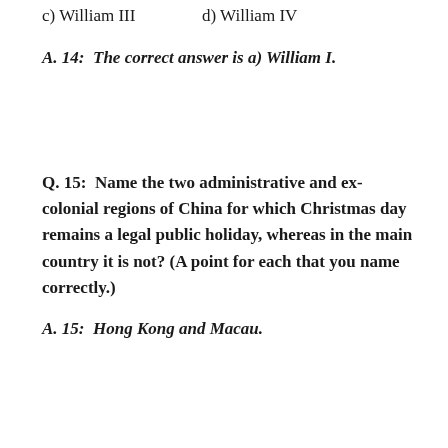c) William III     d) William IV
A. 14:  The correct answer is a) William I.
Q. 15:  Name the two administrative and ex-colonial regions of China for which Christmas day remains a legal public holiday, whereas in the main country it is not? (A point for each that you name correctly.)
A. 15:  Hong Kong and Macau.